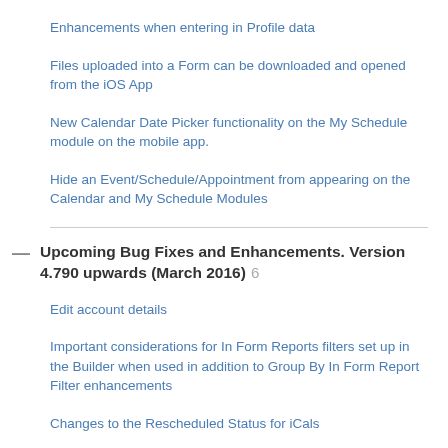Enhancements when entering in Profile data
Files uploaded into a Form can be downloaded and opened from the iOS App
New Calendar Date Picker functionality on the My Schedule module on the mobile app.
Hide an Event/Schedule/Appointment from appearing on the Calendar and My Schedule Modules
Upcoming Bug Fixes and Enhancements. Version 4.790 upwards (March 2016) 6
Edit account details
Important considerations for In Form Reports filters set up in the Builder when used in addition to Group By In Form Report Filter enhancements
Changes to the Rescheduled Status for iCals